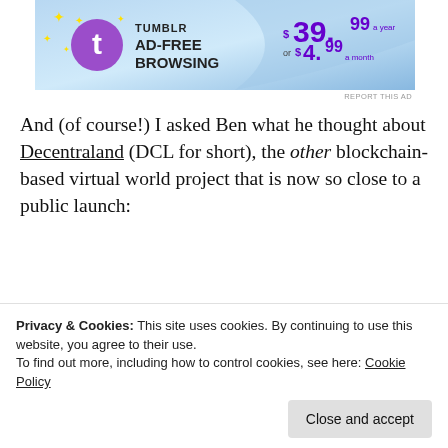[Figure (other): Tumblr Ad-Free Browsing advertisement banner. $39.99 a year or $4.99 a month.]
And (of course!) I asked Ben what he thought about Decentraland (DCL for short), the other blockchain-based virtual world project that is now so close to a public launch:
I really like Decentraland, I wish them lots of luck with their private beta and I'm keen to try it out once the public beta [that once they are in public beta, we can]
Privacy & Cookies: This site uses cookies. By continuing to use this website, you agree to their use.
To find out more, including how to control cookies, see here: Cookie Policy
Close and accept